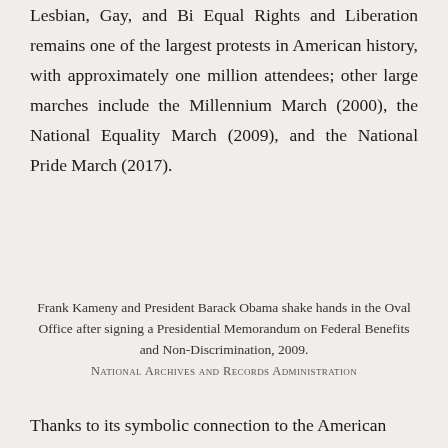Lesbian, Gay, and Bi Equal Rights and Liberation remains one of the largest protests in American history, with approximately one million attendees; other large marches include the Millennium March (2000), the National Equality March (2009), and the National Pride March (2017).
Frank Kameny and President Barack Obama shake hands in the Oval Office after signing a Presidential Memorandum on Federal Benefits and Non-Discrimination, 2009.
National Archives and Records Administration
Thanks to its symbolic connection to the American